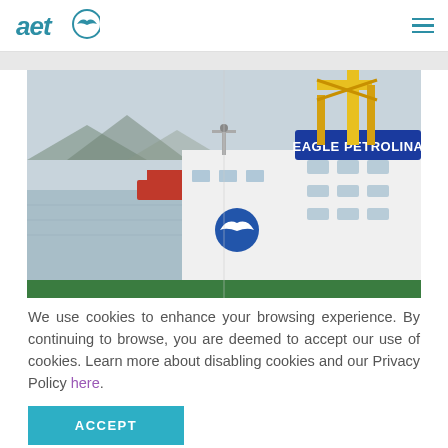[Figure (logo): AET company logo — italic 'aet' text in teal/blue with a circular bird icon]
[Figure (photo): Ship named 'EAGLE PETROLINA' docked at a port with cranes and mountains in the background, AET logo visible on the white superstructure]
We use cookies to enhance your browsing experience. By continuing to browse, you are deemed to accept our use of cookies. Learn more about disabling cookies and our Privacy Policy here.
ACCEPT